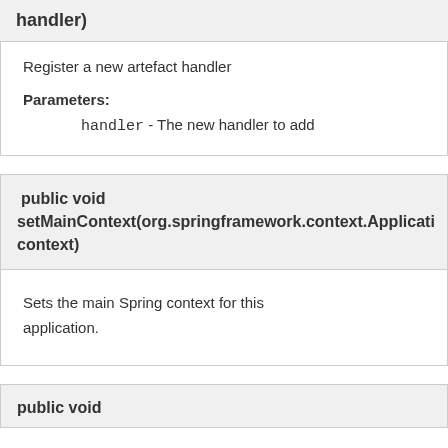handler)
Register a new artefact handler
Parameters:
handler - The new handler to add
public void setMainContext(org.springframework.context.ApplicationContext context)
Sets the main Spring context for this application.
public void